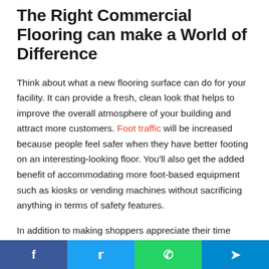The Right Commercial Flooring can make a World of Difference
Think about what a new flooring surface can do for your facility. It can provide a fresh, clean look that helps to improve the overall atmosphere of your building and attract more customers. Foot traffic will be increased because people feel safer when they have better footing on an interesting-looking floor. You'll also get the added benefit of accommodating more foot-based equipment such as kiosks or vending machines without sacrificing anything in terms of safety features.
In addition to making shoppers appreciate their time spent inside your store, commercial flooring is something you